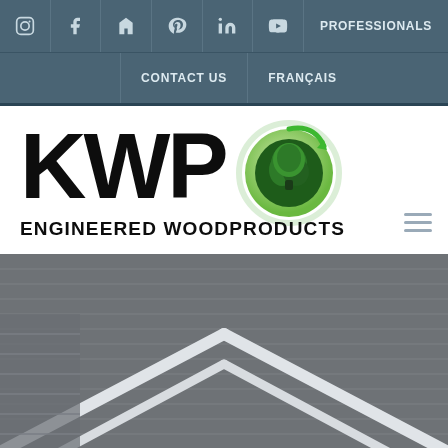Social icons: Instagram, Facebook, Houzz, Pinterest, LinkedIn, YouTube | PROFESSIONALS
CONTACT US | FRANÇAIS
[Figure (logo): KWP Engineered Woodproducts logo with green tree circle emblem]
[Figure (photo): Roof with grey shingles and white trim, architectural angle view]